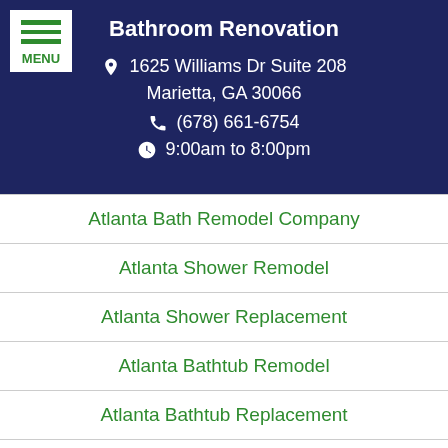Bathroom Renovation
1625 Williams Dr Suite 208
Marietta, GA 30066
(678) 661-6754
9:00am to 8:00pm
Atlanta Bath Remodel Company
Atlanta Shower Remodel
Atlanta Shower Replacement
Atlanta Bathtub Remodel
Atlanta Bathtub Replacement
Privacy Policy
Terms of Service